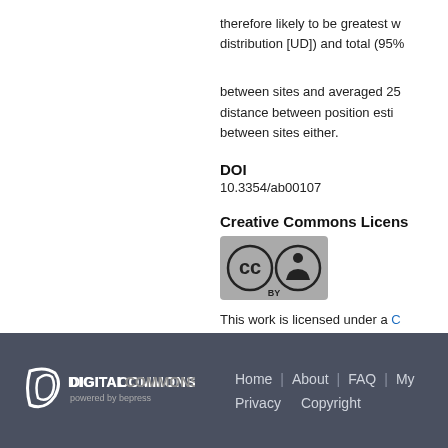therefore likely to be greatest w... distribution [UD]) and total (95%...
between sites and averaged 25... distance between position esti... between sites either.
DOI
10.3354/ab00107
Creative Commons License
[Figure (logo): Creative Commons BY license badge]
This work is licensed under a C...
Link to publisher version (
10.3354/ab00107
Digital Commons powered by bepress | Home | About | FAQ | My... | Privacy | Copyright